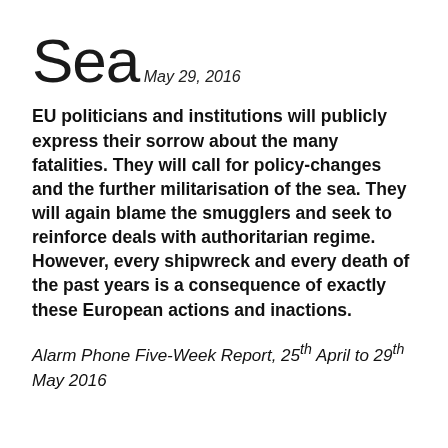Sea
May 29, 2016
EU politicians and institutions will publicly express their sorrow about the many fatalities. They will call for policy-changes and the further militarisation of the sea. They will again blame the smugglers and seek to reinforce deals with authoritarian regime. However, every shipwreck and every death of the past years is a consequence of exactly these European actions and inactions.
Alarm Phone Five-Week Report, 25th April to 29th May 2016